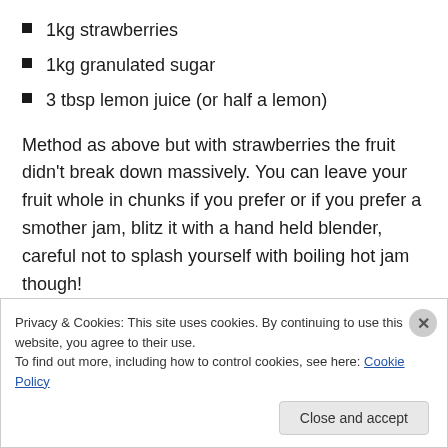1kg strawberries
1kg granulated sugar
3 tbsp lemon juice (or half a lemon)
Method as above but with strawberries the fruit didn't break down massively. You can leave your fruit whole in chunks if you prefer or if you prefer a smother jam, blitz it with a hand held blender, careful not to splash yourself with boiling hot jam though!
Blackberry and Apple Jam
Privacy & Cookies: This site uses cookies. By continuing to use this website, you agree to their use.
To find out more, including how to control cookies, see here: Cookie Policy